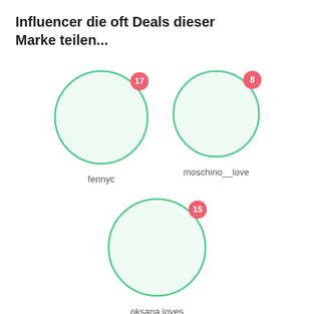Influencer die oft Deals dieser Marke teilen...
[Figure (infographic): Three influencer bubbles: fennyc (badge 17), moschino__love (badge 8), oksana.loves (badge 15). Each is a circle with a salmon/red number badge and a name label below.]